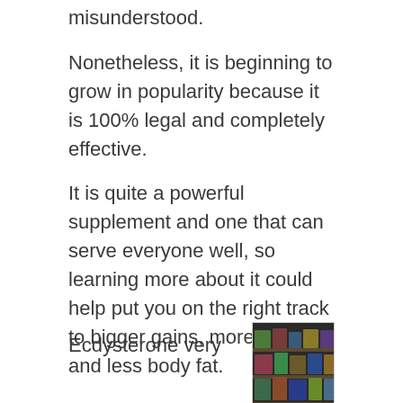misunderstood.
Nonetheless, it is beginning to grow in popularity because it is 100% legal and completely effective.
It is quite a powerful supplement and one that can serve everyone well, so learning more about it could help put you on the right track to bigger gains, more energy, and less body fat.
What Is Ecdysterone?
Ecdysterone very
[Figure (photo): Shelves stocked with supplement products in a store]